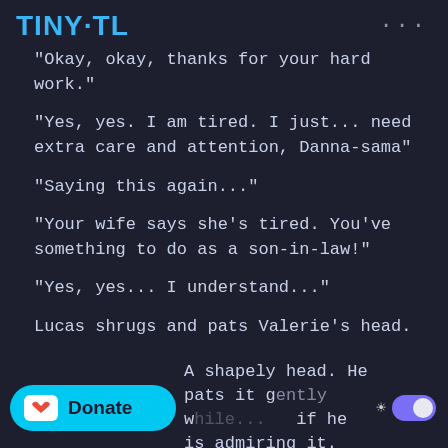TINY·TL
"Okay, okay, thanks for your hard work."
"Yes, yes. I am tired. I just... need extra care and attention, Danna-sama"
"Saying this again..."
"Your wife says she's tired. You've something to do as a son-in-law!"
"Yes, yes... I understand..."
Lucas shrugs and pats Valerie's head.
A shapely head. He pats it gently while... if he is admiring it.